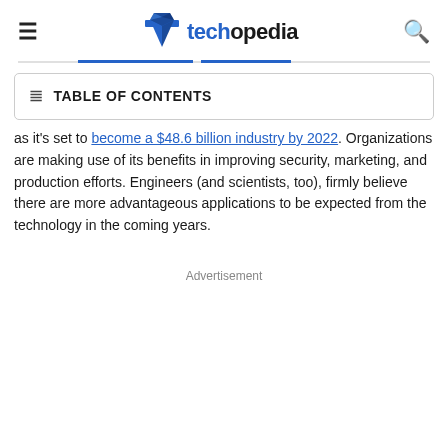techopedia
TABLE OF CONTENTS
as it's set to become a $48.6 billion industry by 2022. Organizations are making use of its benefits in improving security, marketing, and production efforts. Engineers (and scientists, too), firmly believe there are more advantageous applications to be expected from the technology in the coming years.
Advertisement